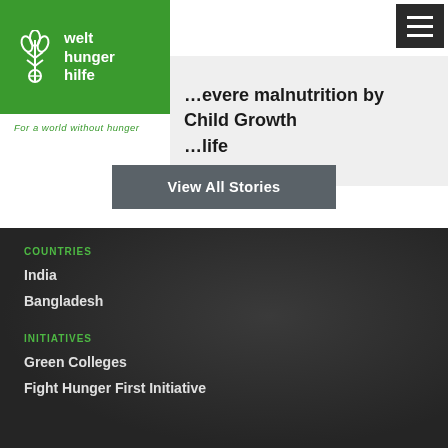[Figure (logo): Welthungerhilfe logo — green block with wheat/plant icon and text 'welt hunger hilfe' in white]
For a world without hunger
[Figure (other): Hamburger menu icon (three horizontal white lines on dark background)]
…evere malnutrition by Child Growth …life
View All Stories
COUNTRIES
India
Bangladesh
INITIATIVES
Green Colleges
Fight Hunger First Initiative